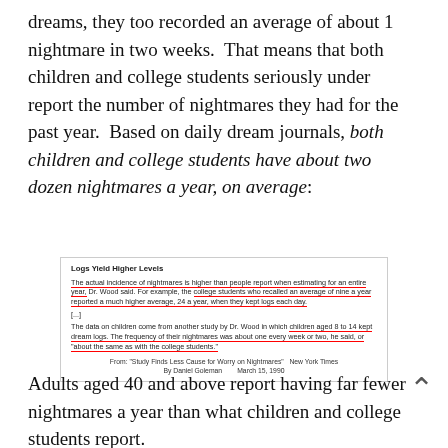dreams, they too recorded an average of about 1 nightmare in two weeks.  That means that both children and college students seriously under report the number of nightmares they had for the past year.  Based on daily dream journals, both children and college students have about two dozen nightmares a year, on average:
[Figure (screenshot): Newspaper clipping titled 'Logs Yield Higher Levels' from the New York Times article 'Study Finds Less Cause for Worry on Nightmares' by Daniel Goleman, March 15, 1990. Text describes that college students who recalled an average of nine nightmares a year reported a much higher average of 24 a year when keeping daily logs. Also mentions children aged 8 to 14 who kept dream logs had nightmares about once every week or two, about the same as college students. Key sentences are underlined in red.]
Adults aged 40 and above report having far fewer nightmares a year than what children and college students report.